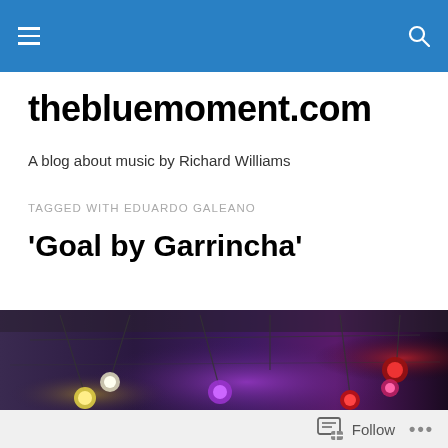thebluemoment.com navigation bar
thebluemoment.com
A blog about music by Richard Williams
TAGGED WITH EDUARDO GALEANO
'Goal by Garrincha'
[Figure (photo): Interior ceiling photo showing colorful hanging bulb lights — purple, red, yellow, and white — suspended on wires in a dimly lit venue with blue and purple ambient lighting.]
Follow